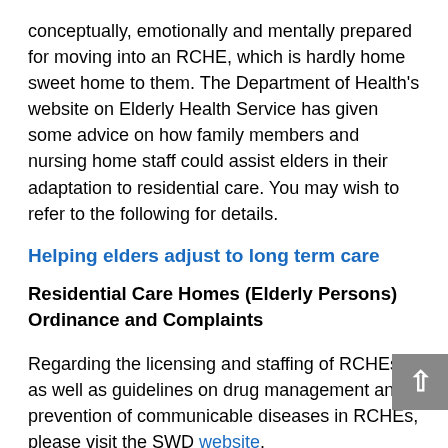conceptually, emotionally and mentally prepared for moving into an RCHE, which is hardly home sweet home to them. The Department of Health's website on Elderly Health Service has given some advice on how family members and nursing home staff could assist elders in their adaptation to residential care. You may wish to refer to the following for details.
Helping elders adjust to long term care
Residential Care Homes (Elderly Persons) Ordinance and Complaints
Regarding the licensing and staffing of RCHEs as well as guidelines on drug management and prevention of communicable diseases in RCHEs, please visit the SWD website. Suggestions/complaints concerning services of RCHEs
Tel.: 2961 7211/2834 7414